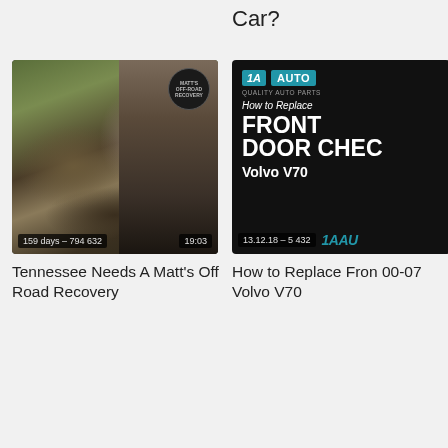Car?
[Figure (screenshot): Thumbnail for 'Tennessee Needs A Matt's Off Road Recovery' video showing a Jeep on rocks and a bearded man. Duration: 19:03. Stats: 159 days – 794 632]
Tennessee Needs A Matt's Off Road Recovery
[Figure (screenshot): Thumbnail for '1A Auto – How to Replace Front Door Check 00-07 Volvo V70' video. Stats: 13.12.18 – 5 432. Shows 1A AUTO logo and text 'How to Replace FRONT DOOR CHEC Volvo V70']
How to Replace Fron 00-07 Volvo V70